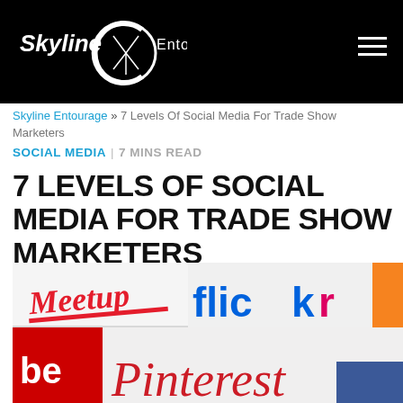Skyline Entourage
Skyline Entourage » 7 Levels Of Social Media For Trade Show Marketers
SOCIAL MEDIA | 7 MINS READ
7 LEVELS OF SOCIAL MEDIA FOR TRADE SHOW MARKETERS
[Figure (photo): Collage of social media logos including Meetup, Flickr, Pinterest, YouTube, and Facebook]